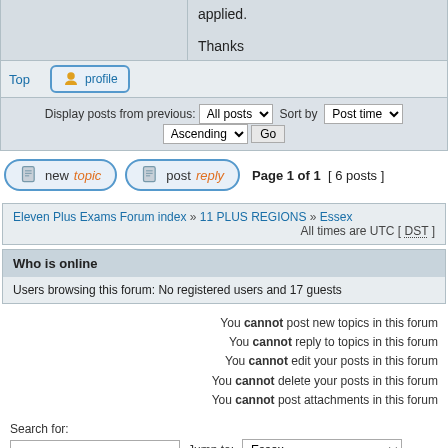applied.

Thanks
Top
profile
Display posts from previous: All posts Sort by Post time Ascending Go
new topic  post reply  Page 1 of 1  [ 6 posts ]
Eleven Plus Exams Forum index » 11 PLUS REGIONS » Essex
All times are UTC [ DST ]
Who is online
Users browsing this forum: No registered users and 17 guests
You cannot post new topics in this forum
You cannot reply to topics in this forum
You cannot edit your posts in this forum
You cannot delete your posts in this forum
You cannot post attachments in this forum
Search for:
Jump to: Essex